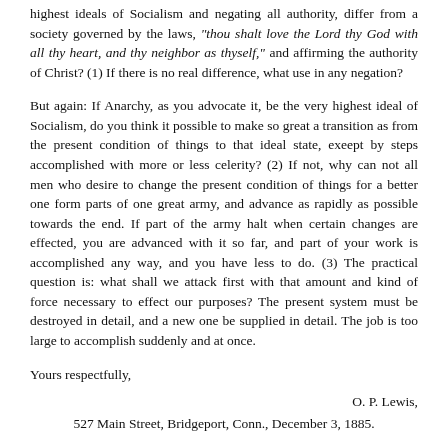highest ideals of Socialism and negating all authority, differ from a society governed by the laws, "thou shalt love the Lord thy God with all thy heart, and thy neighbor as thyself," and affirming the authority of Christ? (1) If there is no real difference, what use in any negation?
But again: If Anarchy, as you advocate it, be the very highest ideal of Socialism, do you think it possible to make so great a transition as from the present condition of things to that ideal state, exeept by steps accomplished with more or less celerity? (2) If not, why can not all men who desire to change the present condition of things for a better one form parts of one great army, and advance as rapidly as possible towards the end. If part of the army halt when certain changes are effected, you are advanced with it so far, and part of your work is accomplished any way, and you have less to do. (3) The practical question is: what shall we attack first with that amount and kind of force necessary to effect our purposes? The present system must be destroyed in detail, and a new one be supplied in detail. The job is too large to accomplish suddenly and at once.
Yours respectfully,
O. P. Lewis,
527 Main Street, Bridgeport, Conn., December 3, 1885.